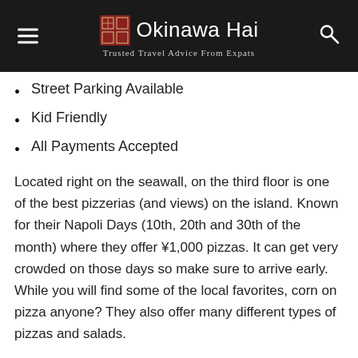Okinawa Hai – Trusted Travel Advice From Expats
Street Parking Available
Kid Friendly
All Payments Accepted
Located right on the seawall, on the third floor is one of the best pizzerias (and views) on the island. Known for their Napoli Days (10th, 20th and 30th of the month) where they offer ¥1,000 pizzas. It can get very crowded on those days so make sure to arrive early. While you will find some of the local favorites, corn on pizza anyone? They also offer many different types of pizzas and salads.
View Restaurant